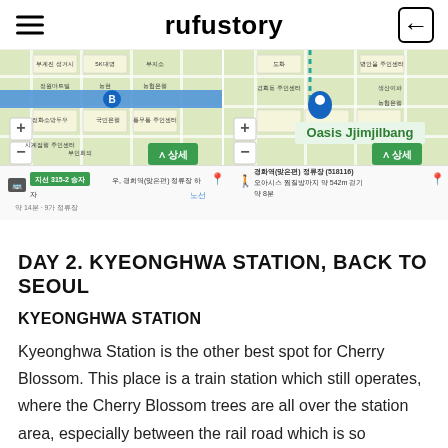rufustory
[Figure (map): Two side-by-side Korean map screenshots showing bus directions. Left map shows route to 진해역 정류장(519804) via bus 315-2, approximately 14 minutes, 9 stops. Right map shows Kyeonghwa (맞은편) stop (518116) near Oasis Jjimjilbang, approximately 542m walk, about 8 minutes.]
DAY 2. KYEONGHWA STATION, BACK TO SEOUL
KYEONGHWA STATION
Kyeonghwa Station is the other best spot for Cherry Blossom. This place is a train station which still operates, where the Cherry Blossom trees are all over the station area, especially between the rail road which is so amazingly